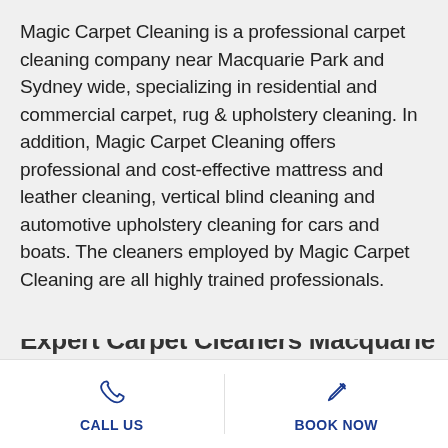Magic Carpet Cleaning is a professional carpet cleaning company near Macquarie Park and Sydney wide, specializing in residential and commercial carpet, rug & upholstery cleaning. In addition, Magic Carpet Cleaning offers professional and cost-effective mattress and leather cleaning, vertical blind cleaning and automotive upholstery cleaning for cars and boats. The cleaners employed by Magic Carpet Cleaning are all highly trained professionals.
Expert Carpet Cleaners Macquarie...